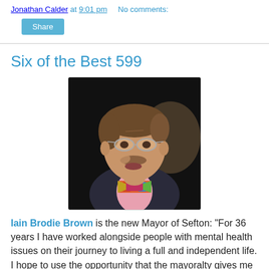Jonathan Calder at 9:01 pm   No comments:
Share
Six of the Best 599
[Figure (photo): Portrait photo of a middle-aged man with brown hair, glasses, mustache, wearing a dark suit jacket and a colorful plaid bow tie, adjusting his glasses]
Iain Brodie Brown is the new Mayor of Sefton: "For 36 years I have worked alongside people with mental health issues on their journey to living a full and independent life. I hope to use the opportunity that the mayoralty gives me to continue to challenge the stigma and ignorance that so often blights